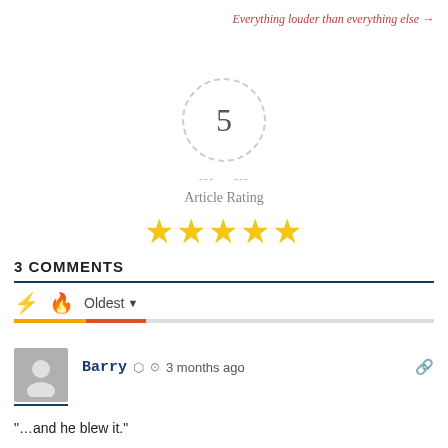Everything louder than everything else →
[Figure (other): Article rating widget showing number 5 in a dashed circle, with 'Article Rating' label and 5 yellow stars below]
3 COMMENTS
Oldest ▼
[Figure (other): User avatar placeholder (gray silhouette)]
Barry  3 months ago
“…and he blew it.”